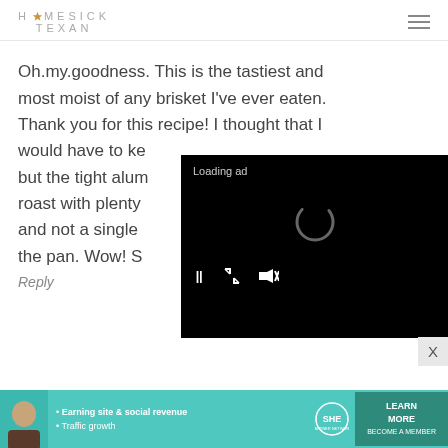HOMESICK TEXAN
Oh.my.goodness. This is the tastiest and most moist of any brisket I've ever eaten. Thank you for this recipe! I thought that I would have to ke but the tight alum roast with plenty and not a single the pan. Wow! S
[Figure (screenshot): Video ad overlay with black background showing 'Loading ad' text, a spinning loading indicator, and playback controls (pause, fullscreen, mute)]
Reply
[Figure (screenshot): Bottom banner advertisement for SHE Partner Network with teal background, a woman's photo, bullet points 'Earning site & social revenue' and 'Traffic growth', SHE logo, and a 'LEARN MORE / BECOME A MEMBER' button]